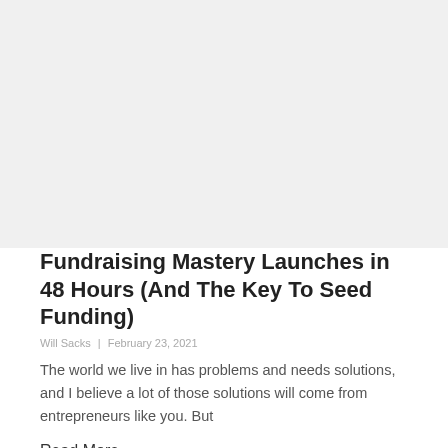[Figure (photo): Placeholder image area at the top of the page, light gray background]
Fundraising Mastery Launches in 48 Hours (And The Key To Seed Funding)
Will Sacks | February 23, 2021
The world we live in has problems and needs solutions, and I believe a lot of those solutions will come from entrepreneurs like you. But
Read More »